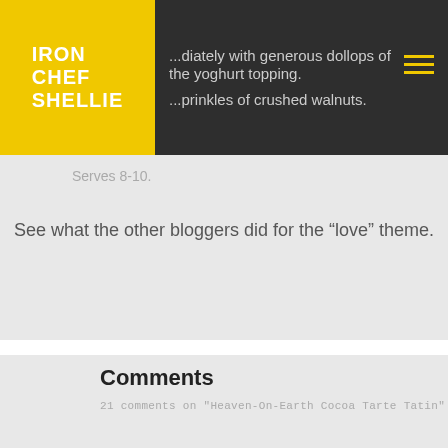IRON CHEF SHELLIE
...diately with generous dollops of the yoghurt topping.
...prinkles of crushed walnuts.
Serves 8-10.
See what the other bloggers did for the “love” theme.
Comments
21 comments on "Heaven-On-Earth Cocoa Tarte Tatin"